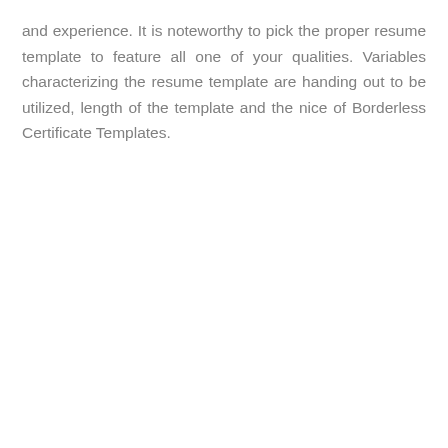and experience. It is noteworthy to pick the proper resume template to feature all one of your qualities. Variables characterizing the resume template are handing out to be utilized, length of the template and the nice of Borderless Certificate Templates.